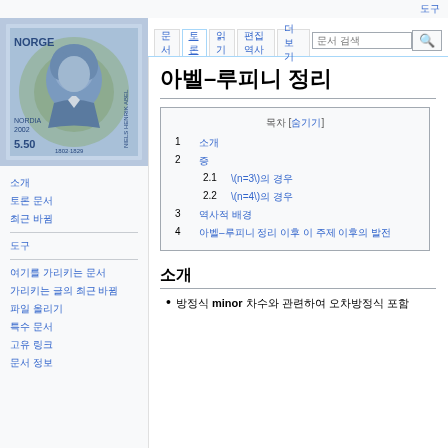도구
[Figure (illustration): Norwegian postage stamp showing Niels Henrik Abel portrait, NORGE, NORDIA 2002, value 5.50, blue color]
소개
토론 문서
최근 바뀜
도구
여기를 가리키는 문서
가리키는 글의 최근 바뀜
파일 올리기
특수 문서
고유 링크
문서 정보
아벨–루피니 정리
| 목차 [숨기기] |
| --- |
| 1  소개 |
| 2  증 |
| 2.1  \(n=3\)의 경우 |
| 2.2  \(n=4\)의 경우 |
| 3  역사적 배경 |
| 4  아벨–루피니 정리 이후 이 주제 이후의 발전 |
소개
방정식 minor 차수와 관련하여 오차방정식 포함